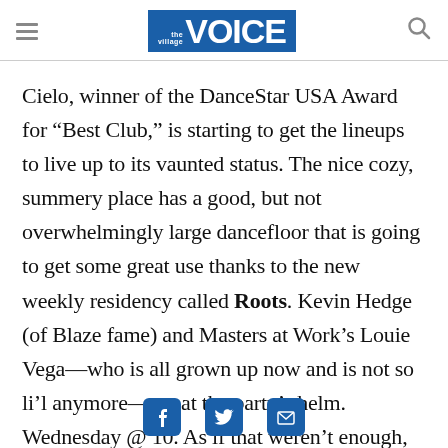the Village VOICE
Cielo, winner of the DanceStar USA Award for “Best Club,” is starting to get the lineups to live up to its vaunted status. The nice cozy, summery place has a good, but not overwhelmingly large dancefloor that is going to get some great use thanks to the new weekly residency called Roots. Kevin Hedge (of Blaze fame) and Masters at Work’s Louie Vega—who is all grown up now and is not so li’l anymore—are at the party’s helm. Wednesday @ 10. As if that weren’t enough, the Cielo peeps nabbed another
social share icons: Facebook, Twitter, Email